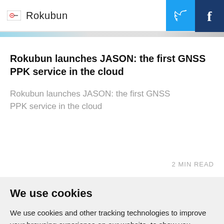Rokubun
Rokubun launches JASON: the first GNSS PPK service in the cloud
Rokubun launches JASON: the first GNSS PPK service in the cloud
2 MIN READ
We use cookies
We use cookies and other tracking technologies to improve your browsing experience on our website, to show you personalized content and targeted ads, to analyze our website traffic, and